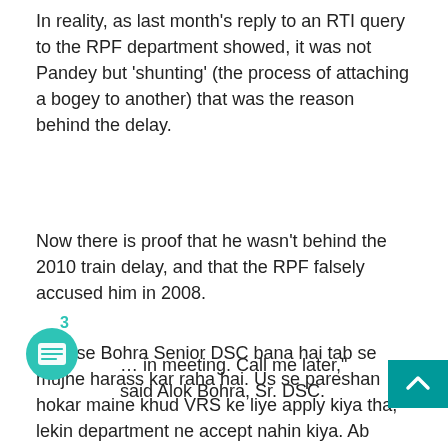In reality, as last month's reply to an RTI query to the RPF department showed, it was not Pandey but 'shunting' (the process of attaching a bogey to another) that was the reason behind the delay.
Now there is proof that he wasn't behind the 2010 train delay, and that the RPF falsely accused him in 2008.
“Jab se Bohra Senior DSC bana hai tab se mujhe harass kar raha hai. Us se pareshan hokar maine khud VRS ke liye apply kiya tha, lekin department ne accept nahin kiya. Ab without reason usne mujhe forcibly retire kar diya. Mere retirement mein sirf 17 mahina baki hai. Bohra bahut corrupt officer hai. Main use chhodunga nahin,” said Pandey.
“... in meeting. Call me later,” said Alok Bohra, Sr. DSC.